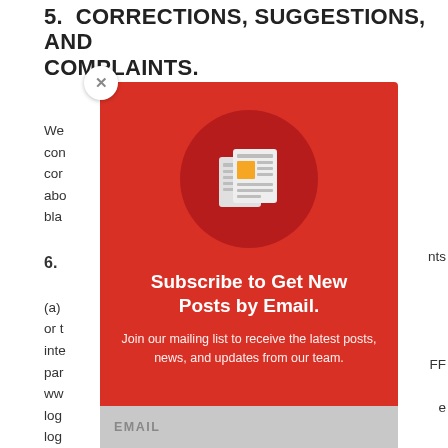5. CORRECTIONS, SUGGESTIONS, AND COMPLAINTS.
We... cor... cor... nts about... black...
6.
(a) ... FF or t... inte... e par... www... log... log... w Bas... Chr... and log...
[Figure (illustration): Email subscription popup overlay on a red background with a newspaper icon in a dark red circle, title 'Subscribe to Get New Posts by Email.' and subtitle 'Join our mailing list to receive the latest posts, news, and updates from our team.' with an EMAIL input bar at the bottom and an X close button.]